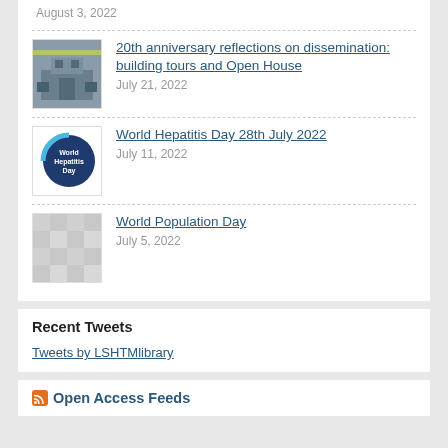August 3, 2022
20th anniversary reflections on dissemination: building tours and Open House — July 21, 2022
World Hepatitis Day 28th July 2022 — July 11, 2022
World Population Day — July 5, 2022
Recent Tweets
Tweets by LSHTMlibrary
Open Access Feeds